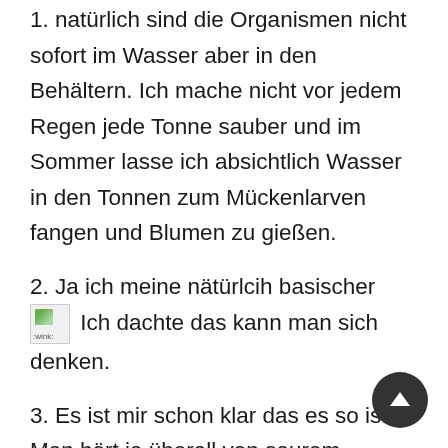1. natürlich sind die Organismen nicht sofort im Wasser aber in den Behältern. Ich mache nicht vor jedem Regen jede Tonne sauber und im Sommer lasse ich absichtlich Wasser in den Tonnen zum Mückenlarven fangen und Blumen zu gießen.
2. Ja ich meine nätürlcih basischer [wink emoji] Ich dachte das kann man sich denken.
3. Es ist mir schon klar das es so ist. Man hört ja überall von saurem Regen... und von CO² ausstoß das kann man sich denken das es sich im Wasser als Kohlensäure befindet.
4. Ja du hast recht nicht jeder kann so